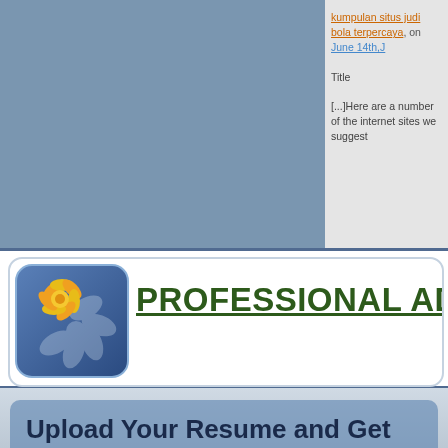kumpulan situs judi bola terpercaya, on June 14th,J
Title
[...]Here are a number of the internet sites we suggest
[Figure (logo): Professional advice website logo with orange flower icon on blue rounded square background, text PROFESSIONAL ADVI... in dark green underlined]
Upload Your Resume and Get
Daily Job Search Advice | Career Advancement Tips | Informative Articles on Life Lessons And much more...
Email Address
Upload Resume   Choose File   No file chosen